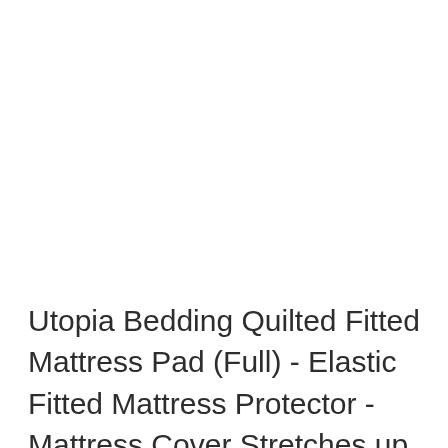Utopia Bedding Quilted Fitted Mattress Pad (Full) - Elastic Fitted Mattress Protector - Mattress Cover Stretches up to 16 Inches Deep - Machine